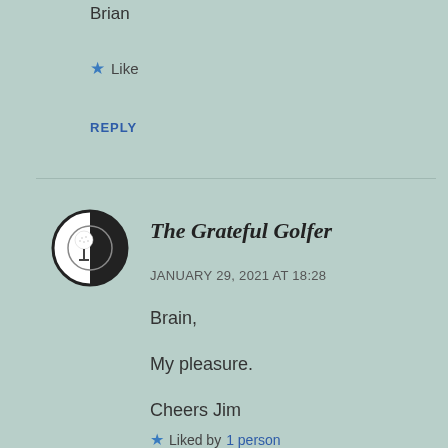Brian
Like
REPLY
[Figure (logo): The Grateful Golfer avatar logo — circular icon showing a golf ball on a tee, black and white design]
The Grateful Golfer
JANUARY 29, 2021 AT 18:28
Brain,
My pleasure.
Cheers Jim
Liked by 1 person